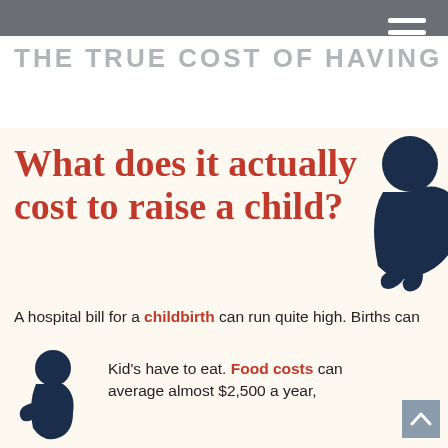THE TRUE COST OF HAVING A KID
What does it actually cost to raise a child?
A hospital bill for a childbirth can run quite high. Births can cost as much as $20,000, depending on a wide variety of factors.¹ Not to mention the costs associated with
[Figure (illustration): Dark navy blue silhouette of a baby/infant in side profile, positioned at upper right]
[Figure (illustration): Dark navy blue silhouette of a baby bottle at lower left]
Kid's have to eat. Food costs can average almost $2,500 a year,